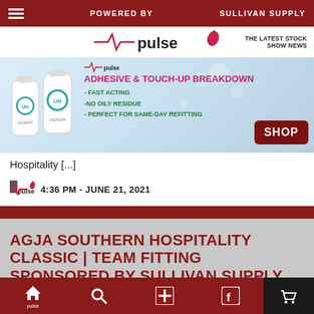POWERED BY | SULLIVAN SUPPLY
[Figure (logo): Pulse logo with heartbeat line and chili pepper - THE LATEST STOCK SHOW NEWS]
[Figure (infographic): Advertisement for Undrepp Adhesive & Touch-Up Breakdown product. Shows two white bottles with teal logos. Text: ADHESIVE & TOUCH-UP BREAKDOWN, - FAST ACTING, -NO OILY RESIDUE, - PERFECT FOR SAME-DAY REFITTING. SHOP button.]
Hospitality [...]
4:36 PM - JUNE 21, 2021
AGJA SOUTHERN HOSPITALITY CLASSIC | TEAM FITTING SPONSORED BY SULLIVAN SUPPLY
Kyson Thigl perfects a belly with the help of Sullivans Powder'ful! Logan Buffo clips out a back leg during
Home | Search | + | Facebook | SHOP